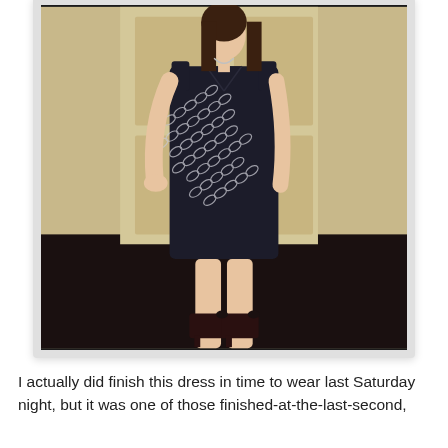[Figure (photo): A woman wearing a sleeveless black dress with a white chain-link pattern, standing indoors in front of a door. She has dark hair, wears a necklace, and has black open-toe heels. One hand is on her hip.]
I actually did finish this dress in time to wear last Saturday night, but it was one of those finished-at-the-last-second,